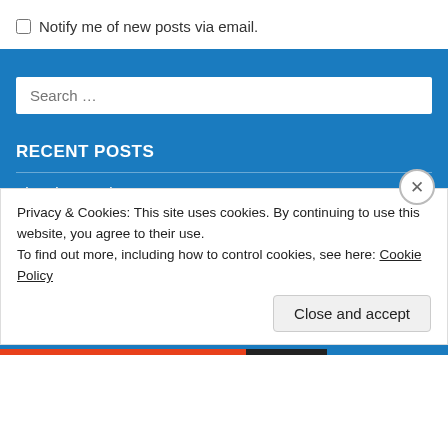Notify me of new posts via email.
[Figure (screenshot): Search input field with placeholder text 'Search ...' on blue background]
RECENT POSTS
The First Martian
Nobody helps the homeless like the homeless
Privacy & Cookies: This site uses cookies. By continuing to use this website, you agree to their use. To find out more, including how to control cookies, see here: Cookie Policy
Close and accept